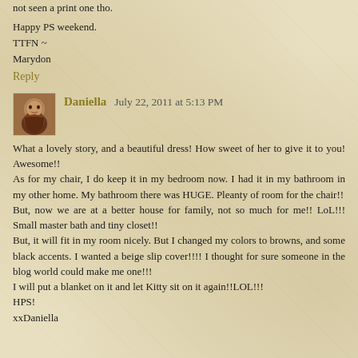not seen a print one tho.
Happy PS weekend.
TTFN ~
Marydon
Reply
Daniella  July 22, 2011 at 5:13 PM
What a lovely story, and a beautiful dress! How sweet of her to give it to you! Awesome!!
As for my chair, I do keep it in my bedroom now. I had it in my bathroom in my other home. My bathroom there was HUGE. Pleanty of room for the chair!!
But, now we are at a better house for family, not so much for me!! LoL!!! Small master bath and tiny closet!!
But, it will fit in my room nicely. But I changed my colors to browns, and some black accents. I wanted a beige slip cover!!!! I thought for sure someone in the blog world could make me one!!!
I will put a blanket on it and let Kitty sit on it again!!LOL!!!
HPS!
xxDaniella